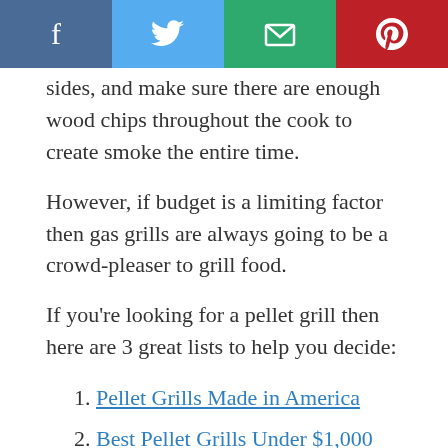[Figure (other): Social sharing bar with four buttons: Facebook (dark blue), Twitter (light blue), Email (green), Pinterest (red)]
sides, and make sure there are enough wood chips throughout the cook to create smoke the entire time.
However, if budget is a limiting factor then gas grills are always going to be a crowd-pleaser to grill food.
If you're looking for a pellet grill then here are 3 great lists to help you decide:
1. Pellet Grills Made in America
2. Best Pellet Grills Under $1,000
3. Best Pellet Grills Under $700
Final Thoughts